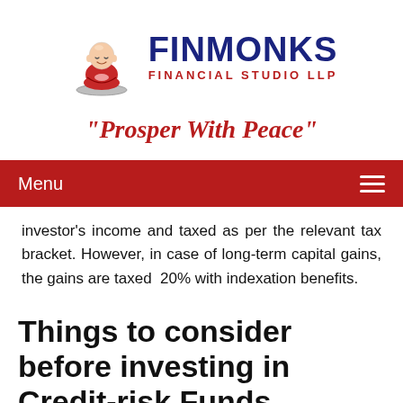[Figure (logo): FinMonks Financial Studio LLP logo — cartoon monk meditating on a coin, with brand name FINMONKS in dark blue and FINANCIAL STUDIO LLP in red]
"Prosper With Peace"
Menu
investor's income and taxed as per the relevant tax bracket. However, in case of long-term capital gains, the gains are taxed 20% with indexation benefits.
Things to consider before investing in Credit-risk Funds